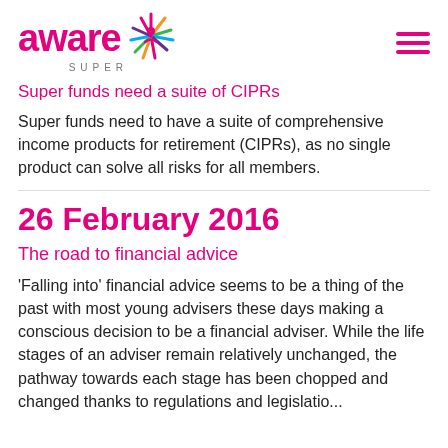aware SUPER
Super funds need a suite of CIPRs
Super funds need to have a suite of comprehensive income products for retirement (CIPRs), as no single product can solve all risks for all members.
26 February 2016
The road to financial advice
'Falling into' financial advice seems to be a thing of the past with most young advisers these days making a conscious decision to be a financial adviser. While the life stages of an adviser remain relatively unchanged, the pathway towards each stage has been chopped and changed thanks to regulations and legislation...